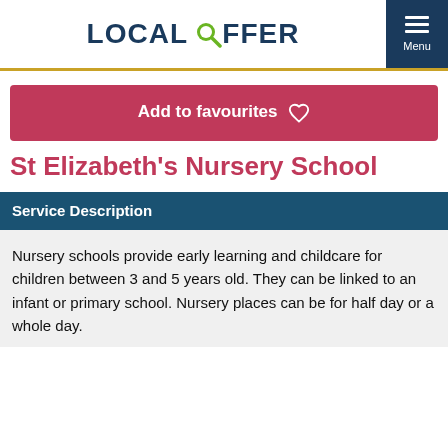LOCAL OFFER
Add to favourites
St Elizabeth's Nursery School
Service Description
Nursery schools provide early learning and childcare for children between 3 and 5 years old. They can be linked to an infant or primary school. Nursery places can be for half day or a whole day.